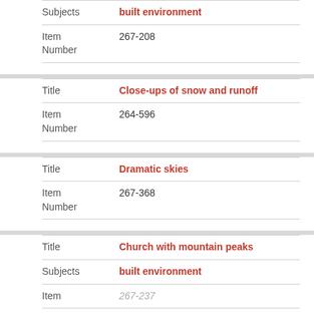| Subjects | built environment |
| Item Number | 267-208 |
| Title | Close-ups of snow and runoff |
| Item Number | 264-596 |
| Title | Dramatic skies |
| Item Number | 267-368 |
| Title | Church with mountain peaks |
| Subjects | built environment |
| Item | 267-237 |